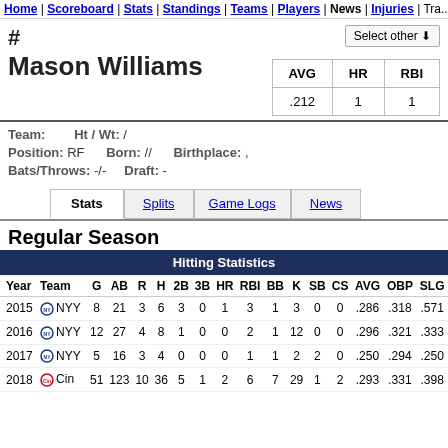Home | Scoreboard | Stats | Standings | Teams | Players | News | Injuries | Tra...
Select other
# Mason Williams
| AVG | HR | RBI |
| --- | --- | --- |
| .212 | 1 | 1 |
Team:    Ht / Wt: /
Position: RF    Born: //    Birthplace: ,
Bats/Throws: -/-    Draft: -
Stats | Splits | Game Logs | News
Regular Season
| Year | Team | G | AB | R | H | 2B | 3B | HR | RBI | BB | K | SB | CS | AVG | OBP | SLG |
| --- | --- | --- | --- | --- | --- | --- | --- | --- | --- | --- | --- | --- | --- | --- | --- | --- |
| 2015 | NYY | 8 | 21 | 3 | 6 | 3 | 0 | 1 | 3 | 1 | 3 | 0 | 0 | .286 | .318 | .571 |
| 2016 | NYY | 12 | 27 | 4 | 8 | 1 | 0 | 0 | 2 | 1 | 12 | 0 | 0 | .296 | .321 | .333 |
| 2017 | NYY | 5 | 16 | 3 | 4 | 0 | 0 | 0 | 1 | 1 | 2 | 2 | 0 | .250 | .294 | .250 |
| 2018 | Cin | 51 | 123 | 10 | 36 | 5 | 1 | 2 | 6 | 7 | 29 | 1 | 2 | .293 | .331 | .398 |